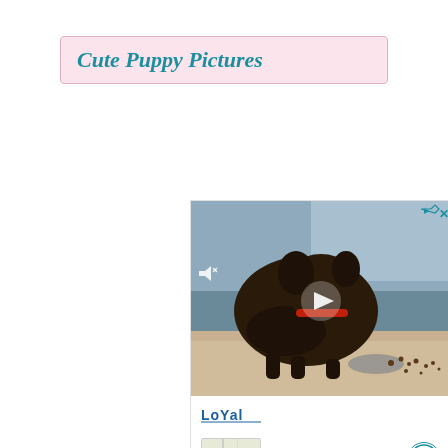Cute Puppy Pictures
[Figure (screenshot): Advertisement unit showing a dark puppy eating from a bowl on a floor, with a play button overlay, Loyal brand logo, map thumbnail, navigation button, ezoic branding and 'report this ad' link]